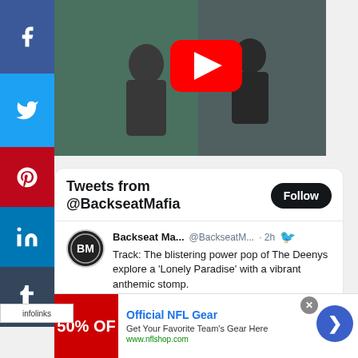[Figure (screenshot): YouTube video thumbnail showing two people in a recording studio/room, with a red YouTube play button overlay]
[Figure (screenshot): Social media sharing sidebar with Facebook (f), Twitter (bird), Pinterest (P), LinkedIn (in), and Tumblr (t) buttons]
infolinks
Tweets from @BackseatMafia
Follow
Backseat Ma... @BackseatM... · 2h
Track: The blistering power pop of The Deenys explore a 'Lonely Paradise' with a vibrant anthemic stomp.
#thedeenys #backseatdownunder #indie
Official NFL Gear
Get Your Favorite Team's Gear Here
www.nflshop.com